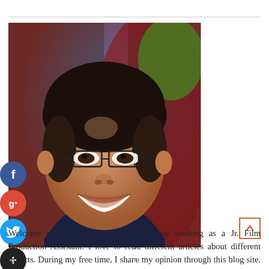[Figure (photo): Portrait photo of a smiling man with glasses and curly dark hair, wearing a dark jacket with a yellow collar, against a colorful background.]
Welcome to my blog, I'm Setiawan Putu working as a Jr. Film Production Assistant. I love to read different articles about different aspects. During my free time, I share my opinion through this blog site. Keep updated with my views.